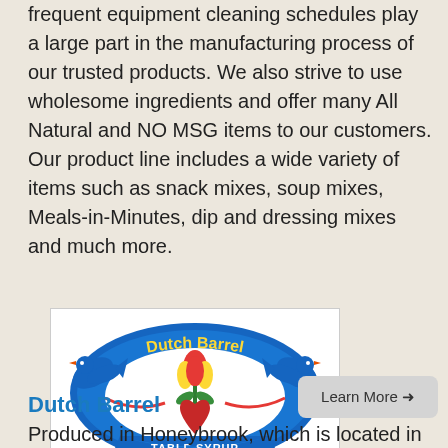frequent equipment cleaning schedules play a large part in the manufacturing process of our trusted products. We also strive to use wholesome ingredients and offer many All Natural and NO MSG items to our customers. Our product line includes a wide variety of items such as snack mixes, soup mixes, Meals-in-Minutes, dip and dressing mixes and much more.
[Figure (logo): Dutch Barrel Table Syrup logo: blue oval with two blue birds and a red tulip/heart, yellow text reading Dutch Barrel on a blue banner, text TABLE SYRUP on lower banner]
Learn More →
Dutch Barrel
Produced in Honeybrook, which is located in Chester